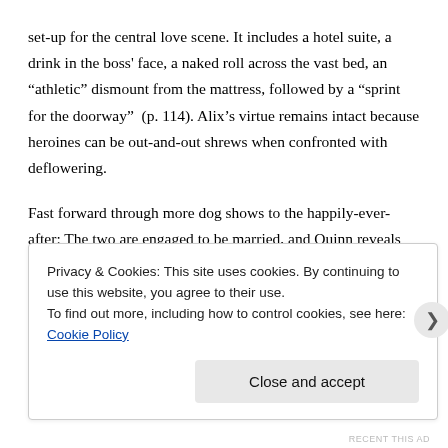set-up for the central love scene. It includes a hotel suite, a drink in the boss' face, a naked roll across the vast bed, an “athletic” dismount from the mattress, followed by a “sprint for the doorway”  (p. 114). Alix’s virtue remains intact because heroines can be out-and-out shrews when confronted with deflowering.
Fast forward through more dog shows to the happily-ever-after: The two are engaged to be married, and Quinn reveals he’s rescued Alix’ stolen designs. She promptly rips the short stack of drawings in half and quarters, saying “these are from the past; they don’t matter now” (p. 189).
Privacy & Cookies: This site uses cookies. By continuing to use this website, you agree to their use.
To find out more, including how to control cookies, see here: Cookie Policy
Close and accept
RECENT THIS AD